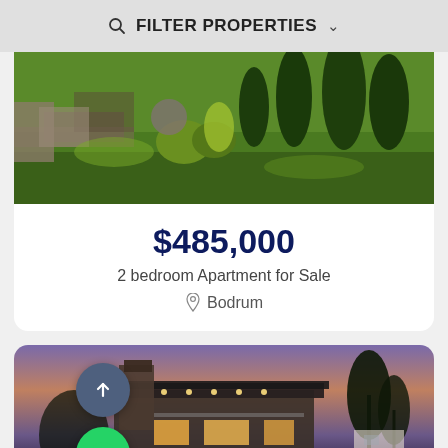FILTER PROPERTIES
[Figure (photo): Aerial view of a green garden with shaped trees, shrubs, and landscaping]
$485,000
2 bedroom Apartment for Sale
Bodrum
[Figure (photo): Modern luxury house exterior at dusk with warm lighting, stone facade, and trees]